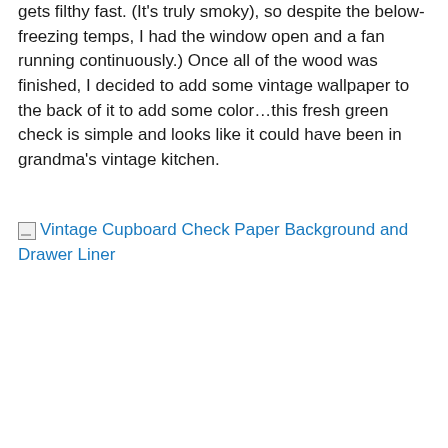gets filthy fast. (It's truly smoky), so despite the below-freezing temps, I had the window open and a fan running continuously.) Once all of the wood was finished, I decided to add some vintage wallpaper to the back of it to add some color…this fresh green check is simple and looks like it could have been in grandma's vintage kitchen.
[Figure (photo): Broken image placeholder with alt text link: 'Vintage Cupboard Check Paper Background and Drawer Liner' displayed as a hyperlink in blue]